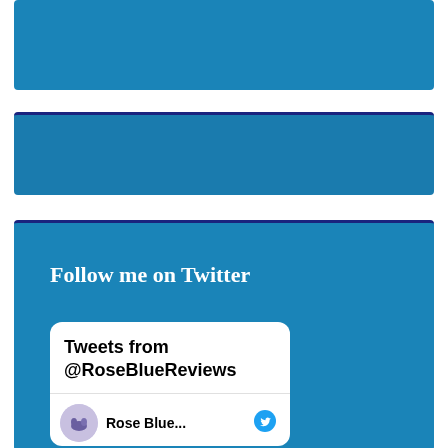[Figure (screenshot): Blue banner block at top of page, partially visible]
[Figure (screenshot): Second blue banner block with dark blue top border]
Follow me on Twitter
Tweets from @RoseBlueReviews
Rose Blue...